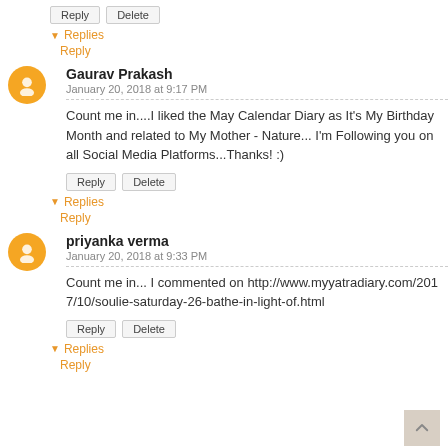Reply | Delete buttons (top)
▼ Replies
Reply
Gaurav Prakash
January 20, 2018 at 9:17 PM
Count me in....I liked the May Calendar Diary as It's My Birthday Month and related to My Mother - Nature... I'm Following you on all Social Media Platforms...Thanks! :)
Reply | Delete buttons
▼ Replies
Reply
priyanka verma
January 20, 2018 at 9:33 PM
Count me in... I commented on http://www.myyatradiary.com/2017/10/soulie-saturday-26-bathe-in-light-of.html
Reply | Delete buttons
▼ Replies
Reply